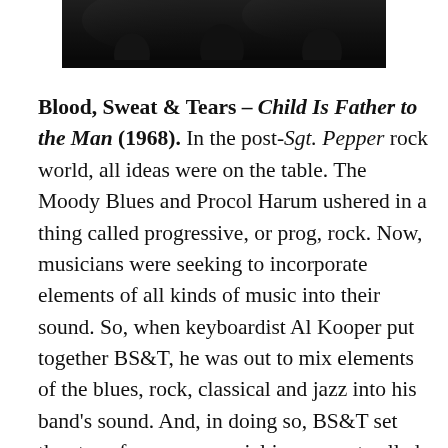[Figure (photo): Dark band photo, partially visible at the top of the page showing musicians in low lighting]
Blood, Sweat & Tears – Child Is Father to the Man (1968). In the post-Sgt. Pepper rock world, all ideas were on the table. The Moody Blues and Procol Harum ushered in a thing called progressive, or prog, rock. Now, musicians were seeking to incorporate elements of all kinds of music into their sound. So, when keyboardist Al Kooper put together BS&T, he was out to mix elements of the blues, rock, classical and jazz into his band's sound. And, in doing so, BS&T set the stage for a commercial juggernaut called Chicago. Unfortunately, Kooper did not stick around for the huge commercial success that was in store for the band…